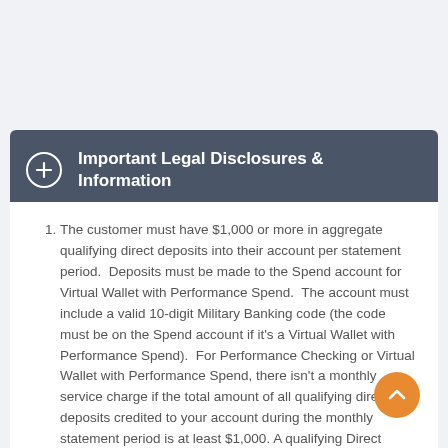Important Legal Disclosures & Information
The customer must have $1,000 or more in aggregate qualifying direct deposits into their account per statement period.  Deposits must be made to the Spend account for Virtual Wallet with Performance Spend.  The account must include a valid 10-digit Military Banking code (the code must be on the Spend account if it's a Virtual Wallet with Performance Spend).  For Performance Checking or Virtual Wallet with Performance Spend, there isn't a monthly service charge if the total amount of all qualifying direct deposits credited to your account during the monthly statement period is at least $1,000. A qualifying Direct Deposit is defined as a recurring Direct Deposit of a paycheck or other regular monthly income electronically deposited into a Performance Checking account or the Spend Account for Virtual Wallet Performance by an employer or outside agency